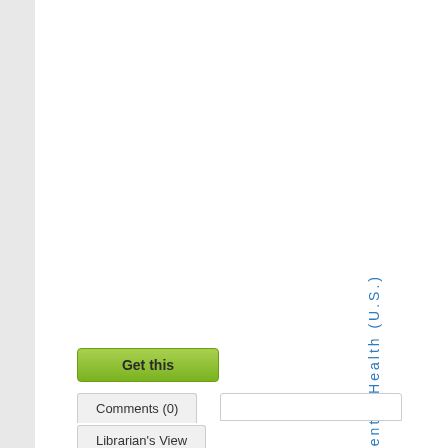of Mental Health (U.S.)
[Figure (screenshot): Green 'Get this' button with gradient background]
Comments (0)
Librarian's View